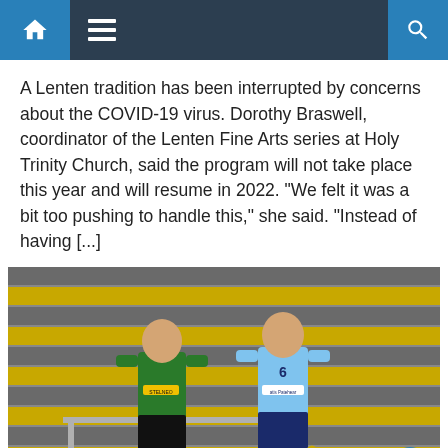Navigation bar with home, menu, and search icons
A Lenten tradition has been interrupted by concerns about the COVID-19 virus. Dorothy Braswell, coordinator of the Lenten Fine Arts series at Holy Trinity Church, said the program will not take place this year and will resume in 2022. “We felt it was a bit too pushing to handle this,” she said. “Instead of having [...]
[Figure (photo): Two young male GAA players standing in front of stadium steps. The player on the left wears a green and black jersey with 'STELNEO' sponsor. The player on the right wears a light blue jersey with number 6. A football and trophy are at their feet.]